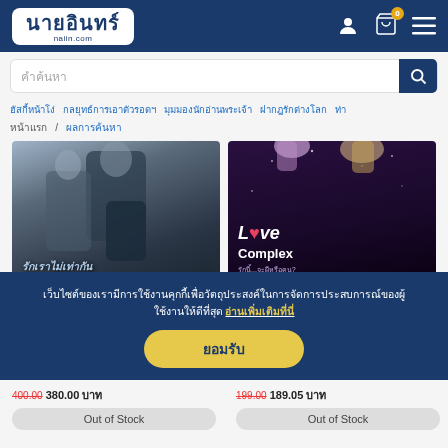นายอินทร์ naiin.com
คำค้นหา
ฮัสกี้หน้าโง่  กลยุทธ์การเอาตัวรอดฯ  มุมมองนักอ่านพระเจ้า  ฝากฎรักต่างโลก  ท่า
หน้าแรก  /  ผลการค้นหา
[Figure (photo): Book cover: รักเราไม่เท่ากัน - two figures in formal wear]
รักเราไม่เท่ากัน
[Figure (photo): Book cover: Love Complex รักนี้...จะผีหรือคน?]
Love Complex รักนี้...จะผีหรือคน?
เว็บไซต์ของเรามีการใช้งานคุกกี้เพื่อวัตถุประสงค์ในการจัดการประสบการณ์ของผู้ใช้งานให้ดีที่สุด อ่านเพิ่มเติมที่นี่
ยอมรับ
400.00  380.00 บาท
Out of Stock
199.00  189.05 บาท
Out of Stock